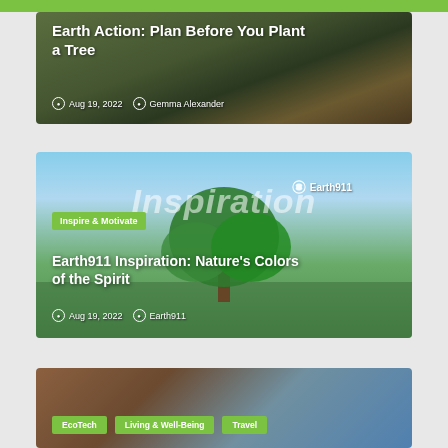[Figure (photo): Outdoor garden scene with person planting, serving as background for article card. Title: Earth Action: Plan Before You Plant a Tree. Date: Aug 19, 2022. Author: Gemma Alexander.]
Earth Action: Plan Before You Plant a Tree
Aug 19, 2022  Gemma Alexander
[Figure (photo): Large tree in green field under blue sky, Earth911 Inspiration article card. Tags: Inspire & Motivate. Title: Earth911 Inspiration: Nature's Colors of the Spirit. Date: Aug 19, 2022. Author: Earth911.]
Inspire & Motivate
Earth911 Inspiration: Nature's Colors of the Spirit
Aug 19, 2022  Earth911
[Figure (photo): Outdoor landscape scene, article card with category tags: EcoTech, Living & Well-Being, Travel.]
EcoTech  Living & Well-Being  Travel